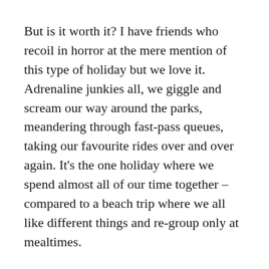But is it worth it? I have friends who recoil in horror at the mere mention of this type of holiday but we love it. Adrenaline junkies all, we giggle and scream our way around the parks, meandering through fast-pass queues, taking our favourite rides over and over again. It's the one holiday where we spend almost all of our time together – compared to a beach trip where we all like different things and re-group only at mealtimes.
So yes, for us it is worth every penny. It's a healthy reminder how great life is right now, in this moment. The stress has melted away and it is impossible to worry about work when